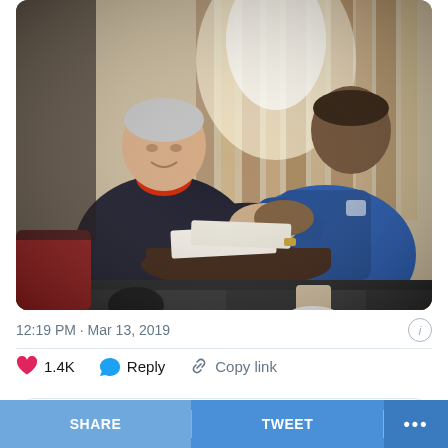[Figure (photo): Two men sitting across a small round table shaking hands. The man on the left is older, wearing a dark jacket with a red collar. The man on the right is younger, wearing a Canterbury rugby training top (blue/teal) with what appears to be an England rugby badge. There are papers/documents on the table between them. The setting appears to be a pub or café with dark wood and red seating.]
12:19 PM · Mar 13, 2019
1.4K   Reply   Copy link
Read 46 replies
SHARE   TWEET   •••